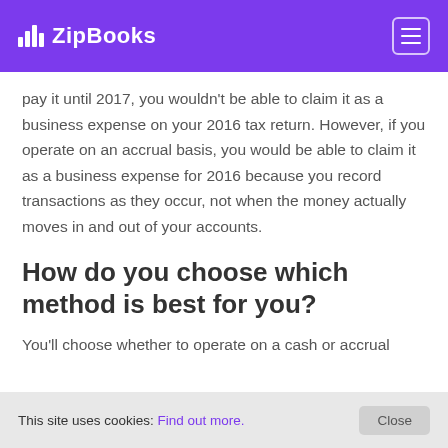ZipBooks
pay it until 2017, you wouldn't be able to claim it as a business expense on your 2016 tax return. However, if you operate on an accrual basis, you would be able to claim it as a business expense for 2016 because you record transactions as they occur, not when the money actually moves in and out of your accounts.
How do you choose which method is best for you?
You'll choose whether to operate on a cash or accrual
This site uses cookies: Find out more. Close